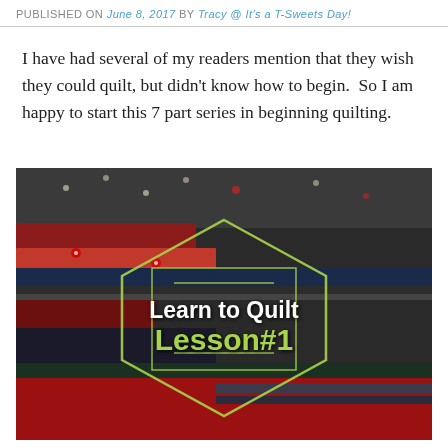PUBLISHED ON June 8, 2017 by Tracy @ It's a T-Sweets Day!
I have had several of my readers mention that they wish they could quilt, but didn't know how to begin.  So I am happy to start this 7 part series in beginning quilting.
[Figure (photo): A stack of colorful quilting fabrics with a hexagon badge overlay reading 'Learn to Quilt Lesson#1' in white and green text on a dark background.]